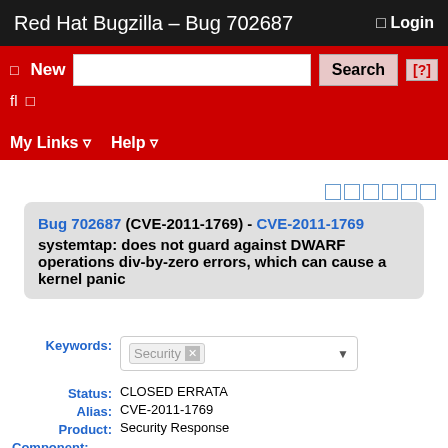Red Hat Bugzilla – Bug 702687
Bug 702687 (CVE-2011-1769) - CVE-2011-1769 systemtap: does not guard against DWARF operations div-by-zero errors, which can cause a kernel panic
Keywords: Security
Status: CLOSED ERRATA
Alias: CVE-2011-1769
Product: Security Response
Component: